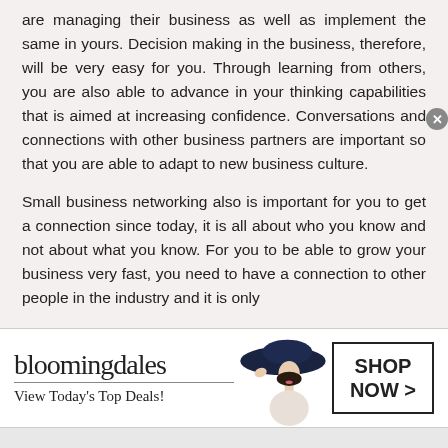are managing their business as well as implement the same in yours. Decision making in the business, therefore, will be very easy for you. Through learning from others, you are also able to advance in your thinking capabilities that is aimed at increasing confidence. Conversations and connections with other business partners are important so that you are able to adapt to new business culture.
Small business networking also is important for you to get a connection since today, it is all about who you know and not about what you know. For you to be able to grow your business very fast, you need to have a connection to other people in the industry and it is only
[Figure (screenshot): Bloomingdale's advertisement banner: logo, tagline 'View Today's Top Deals!', image of woman in hat, 'SHOP NOW >' button]